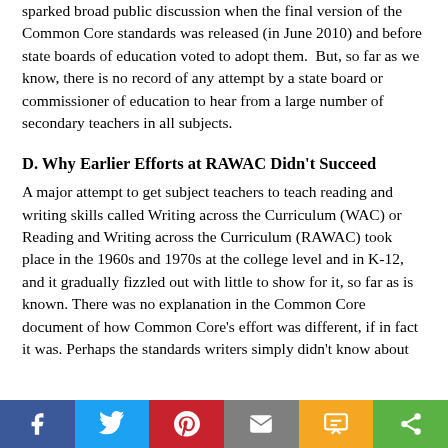sparked broad public discussion when the final version of the Common Core standards was released (in June 2010) and before state boards of education voted to adopt them.  But, so far as we know, there is no record of any attempt by a state board or commissioner of education to hear from a large number of secondary teachers in all subjects.
D. Why Earlier Efforts at RAWAC Didn't Succeed
A major attempt to get subject teachers to teach reading and writing skills called Writing across the Curriculum (WAC) or Reading and Writing across the Curriculum (RAWAC) took place in the 1960s and 1970s at the college level and in K-12, and it gradually fizzled out with little to show for it, so far as is known. There was no explanation in the Common Core document of how Common Core's effort was different, if in fact it was. Perhaps the standards writers simply didn't know about